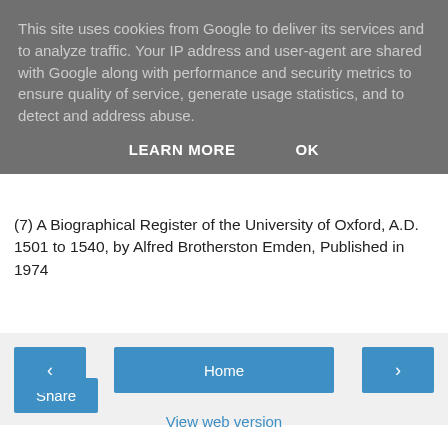This site uses cookies from Google to deliver its services and to analyze traffic. Your IP address and user-agent are shared with Google along with performance and security metrics to ensure quality of service, generate usage statistics, and to detect and address abuse.
LEARN MORE   OK
(7) A Biographical Register of the University of Oxford, A.D. 1501 to 1540, by Alfred Brotherston Emden, Published in 1974
[Figure (other): Share button widget area with light gray background and a blue Share button]
< Home > View web version